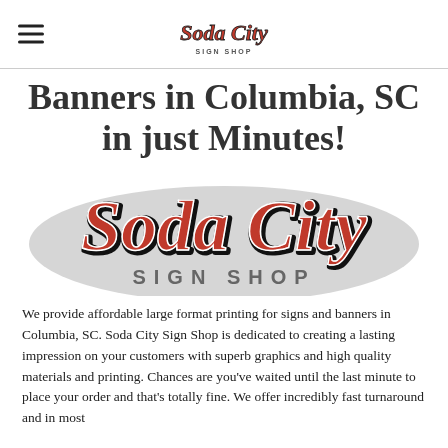Soda City Sign Shop (logo)
Banners in Columbia, SC in just Minutes!
[Figure (logo): Soda City Sign Shop logo — large red script lettering 'Soda City' with black outline and shadow, beneath it 'SIGN SHOP' in bold grey spaced capitals, on white background]
We provide affordable large format printing for signs and banners in Columbia, SC. Soda City Sign Shop is dedicated to creating a lasting impression on your customers with superb graphics and high quality materials and printing. Chances are you've waited until the last minute to place your order and that's totally fine. We offer incredibly fast turnaround and in most